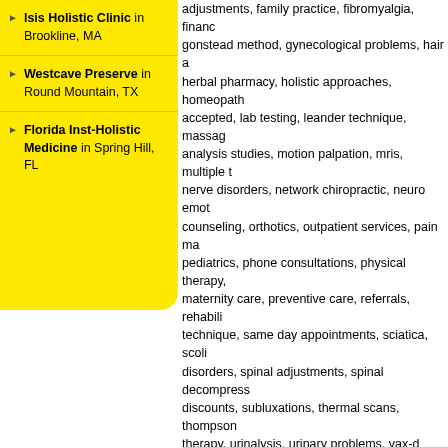Isis Holistic Clinic in Brookline, MA
Westcave Preserve in Round Mountain, TX
Florida Inst-Holistic Medicine in Spring Hill, FL
adjustments, family practice, fibromyalgia, financ... gonstead method, gynecological problems, hair a... herbal pharmacy, holistic approaches, homeopath... accepted, lab testing, leander technique, massag... analysis studies, motion palpation, mris, multiple t... nerve disorders, network chiropractic, neuro emot... counseling, orthotics, outpatient services, pain ma... pediatrics, phone consultations, physical therapy,... maternity care, preventive care, referrals, rehabili... technique, same day appointments, sciatica, scoli... disorders, spinal adjustments, spinal decompress... discounts, subluxations, thermal scans, thompson... therapy, urinalysis, urinary problems, vax-d therap... warranties & guarantees, weight management, we... and x-rays. We are a family owned and locally ow... available. We've served residential, commercial a... Emergency service available during normal busin... tue 09:00 am-06:30 pm,, wed 09:00 am-06:30 pm... am-12:00 pm.
[Figure (photo): Broken/loading image icon]
Reviews
By Brian Tanabe, D.C. from Rancho Cordova, CA
Posted Oct 11, 2011
Dr. Brian M. Tanabe, D.C. has opened his
10901 Folsom Blvd, Suite C
Rancho Cordova, CA 95670
(916) 366-8771
FAX (916) 366-8772
E-mail: Tanabechiropractic@comcast.net